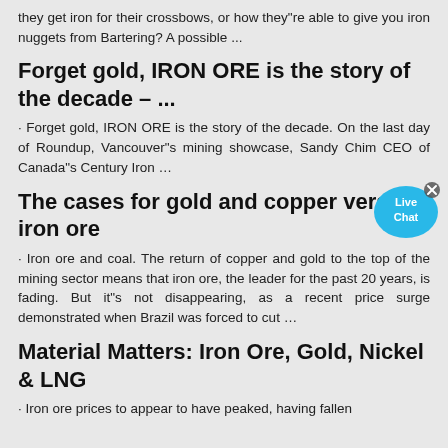they get iron for their crossbows, or how they"re able to give you iron nuggets from Bartering? A possible ...
Forget gold, IRON ORE is the story of the decade – ...
· Forget gold, IRON ORE is the story of the decade. On the last day of Roundup, Vancouver"s mining showcase, Sandy Chim CEO of Canada"s Century Iron …
[Figure (illustration): Live Chat speech bubble icon with close button]
The cases for gold and copper versus iron ore
· Iron ore and coal. The return of copper and gold to the top of the mining sector means that iron ore, the leader for the past 20 years, is fading. But it"s not disappearing, as a recent price surge demonstrated when Brazil was forced to cut …
Material Matters: Iron Ore, Gold, Nickel & LNG
· Iron ore prices to appear to have peaked, having fallen